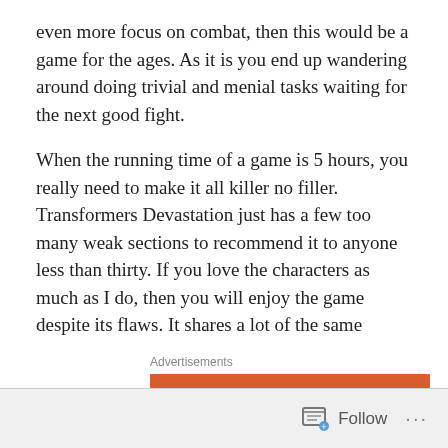even more focus on combat, then this would be a game for the ages. As it is you end up wandering around doing trivial and menial tasks waiting for the next good fight.
When the running time of a game is 5 hours, you really need to make it all killer no filler. Transformers Devastation just has a few too many weak sections to recommend it to anyone less than thirty. If you love the characters as much as I do, then you will enjoy the game despite its flaws. It shares a lot of the same concerns and criticisms that another Platinum title does – Metal Gear Rising Revengeance. Short, Stylish and essential for fans of the IP. If not, you can give this a miss.
Advertisements
Follow ...